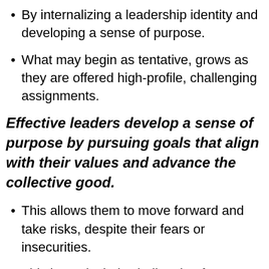By internalizing a leadership identity and developing a sense of purpose.
What may begin as tentative, grows as they are offered high-profile, challenging assignments.
Effective leaders develop a sense of purpose by pursuing goals that align with their values and advance the collective good.
This allows them to move forward and take risks, despite their fears or insecurities.
This is particularly challenging for women, as our culture is conflicted about how and when they should exercise authority. Consider that we haven't yet had a